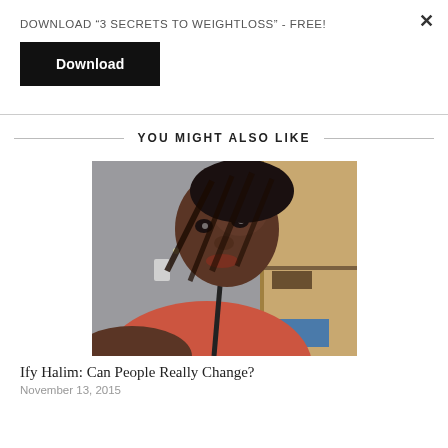DOWNLOAD “3 SECRETS TO WEIGHTLOSS” - FREE!
Download
YOU MIGHT ALSO LIKE
[Figure (photo): Selfie photo of a young woman named Ify Halim wearing a red/coral sleeveless top, with braided hair, looking at camera, taken indoors with a wardrobe in background.]
Ify Halim: Can People Really Change?
November 13, 2015